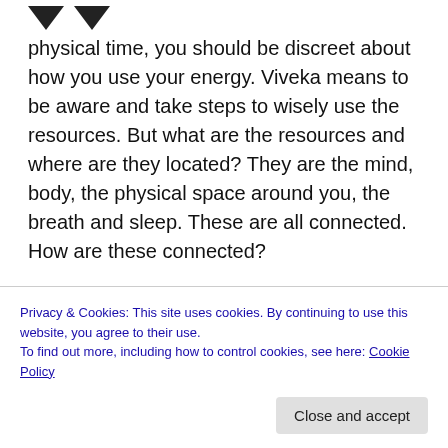physical time, you should be discreet about how you use your energy. Viveka means to be aware and take steps to wisely use the resources. But what are the resources and where are they located? They are the mind, body, the physical space around you, the breath and sleep. These are all connected. How are these connected?
If you are sleep deprived, how will be the state of the situation?
How is your mind when the food you eat is
Privacy & Cookies: This site uses cookies. By continuing to use this website, you agree to their use.
To find out more, including how to control cookies, see here: Cookie Policy